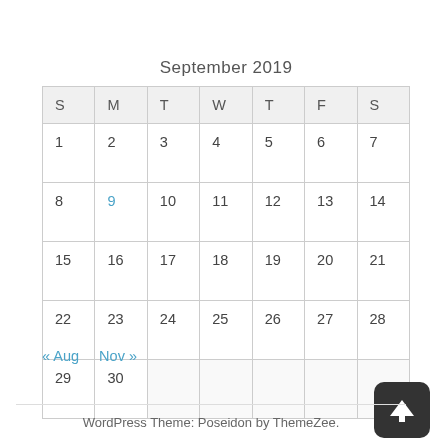September 2019
| S | M | T | W | T | F | S |
| --- | --- | --- | --- | --- | --- | --- |
| 1 | 2 | 3 | 4 | 5 | 6 | 7 |
| 8 | 9 | 10 | 11 | 12 | 13 | 14 |
| 15 | 16 | 17 | 18 | 19 | 20 | 21 |
| 22 | 23 | 24 | 25 | 26 | 27 | 28 |
| 29 | 30 |  |  |  |  |  |
« Aug   Nov »
[Figure (other): Scroll-to-top button arrow icon]
WordPress Theme: Poseidon by ThemeZee.